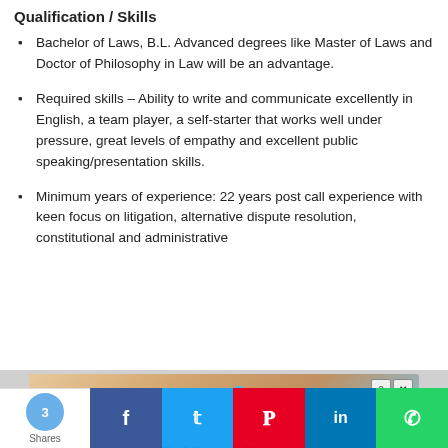Qualification / Skills
Bachelor of Laws, B.L. Advanced degrees like Master of Laws and Doctor of Philosophy in Law will be an advantage.
Required skills – Ability to write and communicate excellently in English, a team player, a self-starter that works well under pressure, great levels of empathy and excellent public speaking/presentation skills.
Minimum years of experience: 22 years post call experience with keen focus on litigation, alternative dispute resolution, constitutional and administrative
[Figure (screenshot): Advertisement banner for 'Hold and Move' app/game featuring blue cartoon figures on a wooden surface background, with close/help buttons in top right corner.]
3 Shares | Facebook | Twitter | Pinterest | LinkedIn | WhatsApp